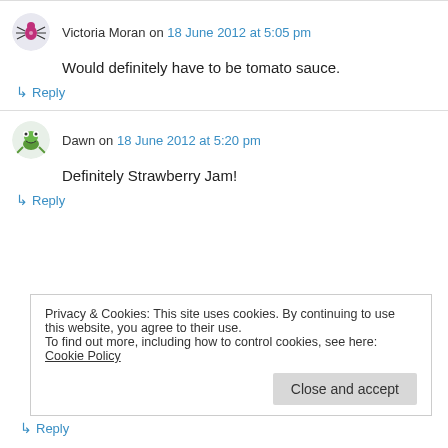Victoria Moran on 18 June 2012 at 5:05 pm
Would definitely have to be tomato sauce.
↳ Reply
Dawn on 18 June 2012 at 5:20 pm
Definitely Strawberry Jam!
↳ Reply
Privacy & Cookies: This site uses cookies. By continuing to use this website, you agree to their use.
To find out more, including how to control cookies, see here: Cookie Policy
Close and accept
↳ Reply